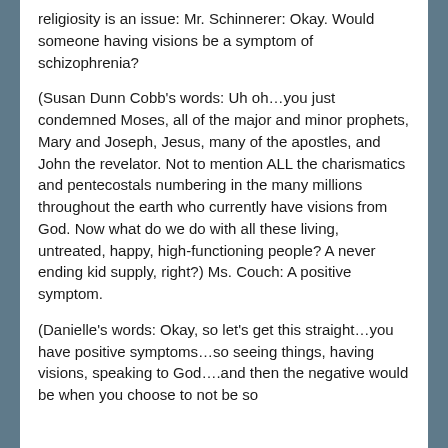religiosity is an issue: Mr. Schinnerer: Okay. Would someone having visions be a symptom of schizophrenia?
(Susan Dunn Cobb's words: Uh oh…you just condemned Moses, all of the major and minor prophets, Mary and Joseph, Jesus, many of the apostles, and John the revelator. Not to mention ALL the charismatics and pentecostals numbering in the many millions throughout the earth who currently have visions from God. Now what do we do with all these living, untreated, happy, high-functioning people? A never ending kid supply, right?) Ms. Couch: A positive symptom.
(Danielle's words: Okay, so let's get this straight…you have positive symptoms…so seeing things, having visions, speaking to God….and then the negative would be when you choose to not be so